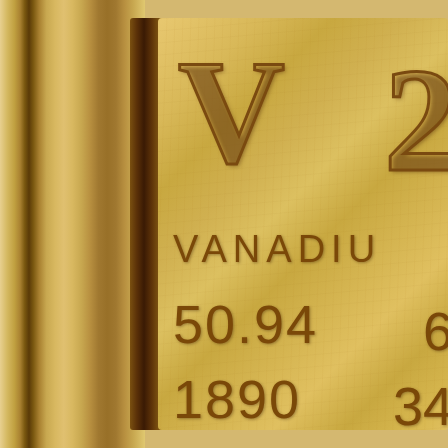[Figure (photo): Close-up photograph of a wooden periodic table tile for Vanadium (V), element 23, showing engraved symbol V, name VANADIUM, atomic mass 50.94, and year 1890. The tile is set in a wood frame with dark border. The engraving shows partial numbers (2, 6, 34) cut off at the right edge.]